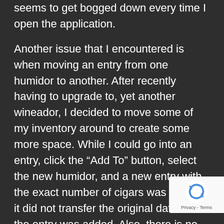seems to get bogged down every time I open the application.
Another issue that I encountered is when moving an entry from one humidor to another. After recently having to upgrade to, yet another wineador, I decided to move some of my inventory around to create some more space. While I could go into an entry, click the “Add To” button, select the new humidor, and a new entry with the exact number of cigars was created, it did not transfer the original date that the entry was added. Also, there is no “copy and paste” option. This, coupled with the load times, resulted in it taking an entire afternoon to transfer and delete entries from the old humidor to the humdior.
[Figure (logo): reCAPTCHA badge with logo and Privacy - Terms links]